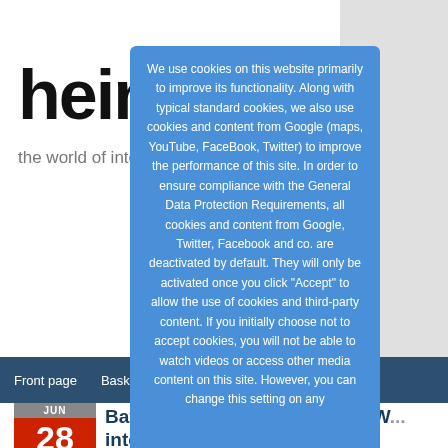hein
the world of inter...orts
Front page | Basketball | ... | Podcasts | Custom Cards
[Figure (screenshot): Cookie consent overlay popup with blue background covering the center of the page, containing cookie policy text.]
We use cookies on this website primarily to improve its functionality. Along with typical standard cookies, we also use cookies and content from Google (maps, YouTube, FaceBook, Twitter) to improve the performance of this site. In order to ensure compliance with the General Data Protection Requirements, all cookies and content from Google, Twitter, Facebook and co. are deactivated by default. They will only be activated once you click "Accept" to allow the use of cookies and third-party content. If you initially choose not to accept cookies, you will not be able to watch videos or access other media content on this site. However, you can change this setting on any
JUN 28
Bayern Munich...BBL champ W...interest in Greene Hall
GERMAN...ABLED
Bayern Munich's d... fight in German basketball, German BBL league d... from Brose Baskets B... U20 international Bas...
A club official also... adding German inte...